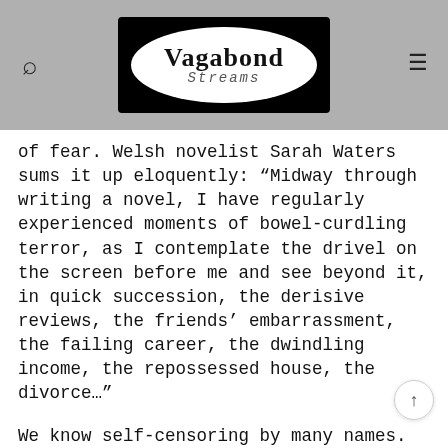[Figure (logo): Vagabond Streams logo: white oval on black rectangle background with 'Vagabond' in bold serif and 'Streams' in cursive below]
of fear. Welsh novelist Sarah Waters sums it up eloquently: “Midway through writing a novel, I have regularly experienced moments of bowel-curdling terror, as I contemplate the drivel on the screen before me and see beyond it, in quick succession, the derisive reviews, the friends’ embarrassment, the failing career, the dwindling income, the repossessed house, the divorce…”
We know self-censoring by many names. Carl Jung called it our “inner critic.” Michael Ray and Rochelle Myers called it the “voice of judgment” in their classic book, Creativity in Business, based on a